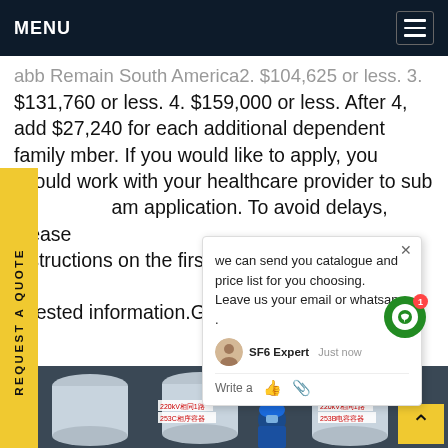MENU
abb Remain South America2. $104,625 or less. 3. $131,760 or less. 4. $159,000 or less. After 4, add $27,240 for each additional dependent family member. If you would like to apply, you should work with your healthcare provider to submit am application. To avoid delays, please follow the instructions on the first page and submit all requested information.Get price
[Figure (photo): Industrial electrical equipment — large cylindrical SF6 gas insulated switchgear units with Chinese labels (220kV), a worker in blue coveralls and hard hat working on the equipment]
we can send you catalogue and price list for you choosing.
Leave us your email or whatsapp .
SF6 Expert   just now
Write a